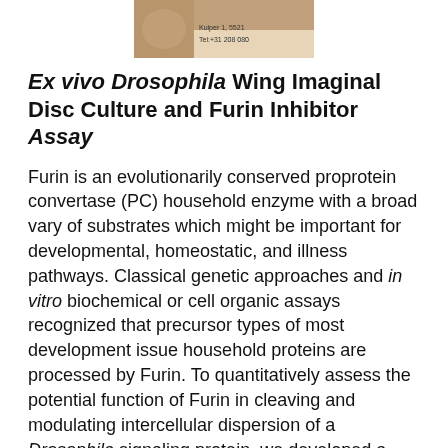[Figure (photo): Partial view of a label or packaging showing text including 'Kuiper 1, 5521' and 'Tel:+31 208 080']
Ex vivo Drosophila Wing Imaginal Disc Culture and Furin Inhibitor Assay
Furin is an evolutionarily conserved proprotein convertase (PC) household enzyme with a broad vary of substrates which might be important for developmental, homeostatic, and illness pathways. Classical genetic approaches and in vitro biochemical or cell organic assays recognized that precursor types of most development issue household proteins are processed by Furin. To quantitatively assess the potential function of Furin in cleaving and modulating intercellular dispersion of a Drosophila signaling protein, we developed a easy assay by combining genetics, ex vivo organ